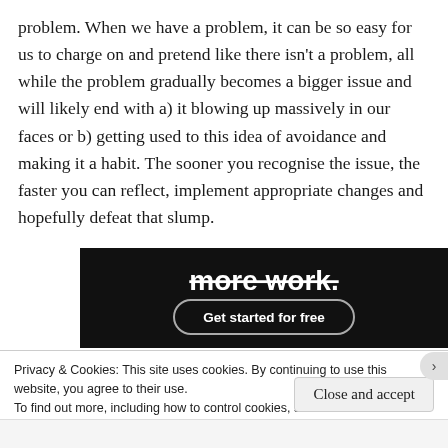problem. When we have a problem, it can be so easy for us to charge on and pretend like there isn't a problem, all while the problem gradually becomes a bigger issue and will likely end with a) it blowing up massively in our faces or b) getting used to this idea of avoidance and making it a habit. The sooner you recognise the issue, the faster you can reflect, implement appropriate changes and hopefully defeat that slump.
[Figure (screenshot): Dark banner advertisement showing 'more work.' text in white bold font with a 'Get started for free' button below it with rounded border]
Privacy & Cookies: This site uses cookies. By continuing to use this website, you agree to their use.
To find out more, including how to control cookies, see here:
Cookie Policy
Close and accept